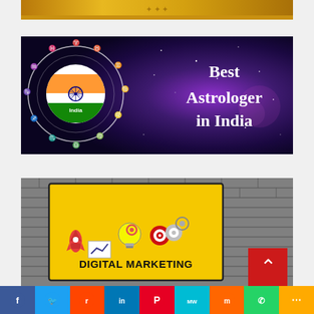[Figure (illustration): Partial top banner with gold/yellow decorative background, likely an astrology or spiritual website header]
[Figure (illustration): Best Astrologer in India banner with dark purple starry background, zodiac wheel with Indian flag in center labeled 'India', bold white text 'Best Astrologer in India' on right]
[Figure (illustration): Digital Marketing banner on brick wall background with yellow board showing icons (rocket, lightbulb, chart, targets) and bold text 'DIGITAL MARKETING', red back-to-top button in bottom right]
[Figure (infographic): Social media share bar with icons: Facebook (blue), Twitter (light blue), Reddit (orange-red), LinkedIn (blue), Pinterest (red), MeWe (teal), Mix (orange), WhatsApp (green), More (orange)]